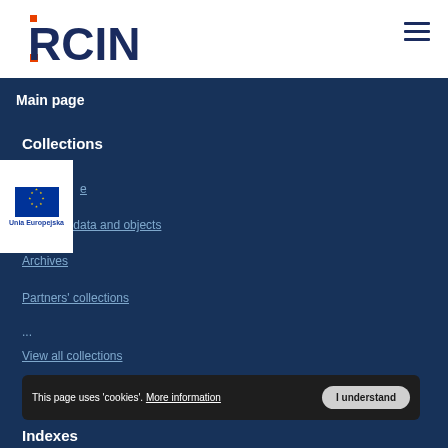[Figure (logo): RCIN logo in dark blue with orange/red accent square bracket on the R]
[Figure (illustration): Hamburger menu icon (three horizontal lines) in top right corner]
Main page
Collections
[Figure (logo): European Union flag logo with stars circle and 'Unia Europejska' label below]
Scientific data and objects
Archives
Partners' collections
...
View all collections
This page uses 'cookies'. More information  I understand
Indexes